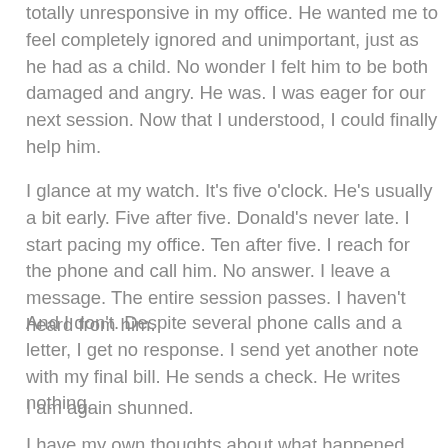totally unresponsive in my office. He wanted me to feel completely ignored and unimportant, just as he had as a child. No wonder I felt him to be both damaged and angry. He was. I was eager for our next session. Now that I understood, I could finally help him.
I glance at my watch. It's five o'clock. He's usually a bit early. Five after five. Donald's never late. I start pacing my office. Ten after five. I reach for the phone and call him. No answer. I leave a message. The entire session passes. I haven't heard from him.
And I don't. Despite several phone calls and a letter, I get no response. I send yet another note with my final bill. He sends a check. He writes nothing.
I am again shunned.
I have my own thoughts about what happened here.